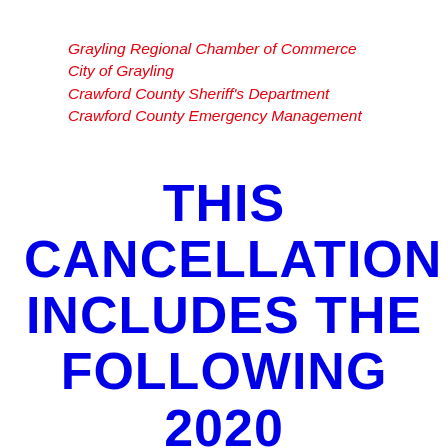Grayling Regional Chamber of Commerce
City of Grayling
Crawford County Sheriff's Department
Crawford County Emergency Management
THIS CANCELLATION INCLUDES THE FOLLOWING 2020 AUSABLE RIVER FESTIVAL EVENTS IN ADDITION TO THE AUSABLE RIVER CANOE